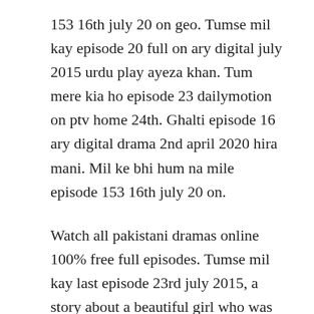153 16th july 20 on geo. Tumse mil kay episode 20 full on ary digital july 2015 urdu play ayeza khan. Tum mere kia ho episode 23 dailymotion on ptv home 24th. Ghalti episode 16 ary digital drama 2nd april 2020 hira mani. Mil ke bhi hum na mile episode 153 16th july 20 on.
Watch all pakistani dramas online 100% free full episodes. Tumse mil kay last episode 23rd july 2015, a story about a beautiful girl who was left alone in this world, dreaming that one day a prince charming would come to rescue